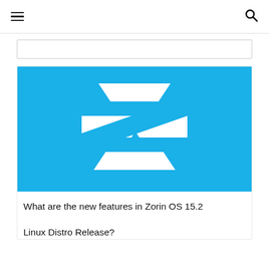≡  🔍
[Figure (logo): Zorin OS logo — white stylized Z shape on a bright blue background]
What are the new features in Zorin OS 15.2 Linux Distro Release?